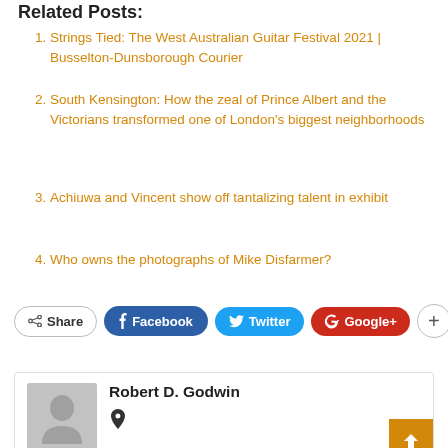Related Posts:
Strings Tied: The West Australian Guitar Festival 2021 | Busselton-Dunsborough Courier
South Kensington: How the zeal of Prince Albert and the Victorians transformed one of London's biggest neighborhoods
Achiuwa and Vincent show off tantalizing talent in exhibit
Who owns the photographs of Mike Disfarmer?
[Figure (infographic): Social share buttons: Share, Facebook, Twitter, Google+, and a plus button]
[Figure (infographic): Author card for Robert D. Godwin with a grey avatar placeholder and a location pin icon]